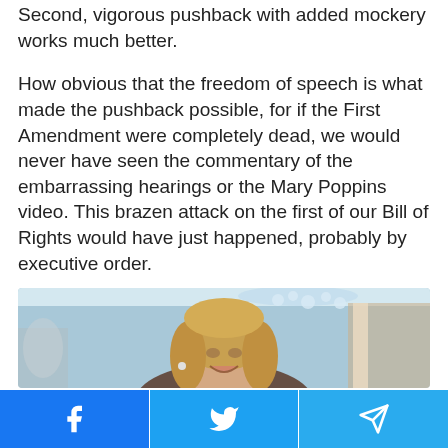Second, vigorous pushback with added mockery works much better.
How obvious that the freedom of speech is what made the pushback possible, for if the First Amendment were completely dead, we would never have seen the commentary of the embarrassing hearings or the Mary Poppins video. This brazen attack on the first of our Bill of Rights would have just happened, probably by executive order.
[Figure (photo): A smiling blonde woman (Hillary Clinton) photographed indoors with a light blue wall and chandelier visible in the background.]
Facebook | Twitter | Telegram social sharing buttons